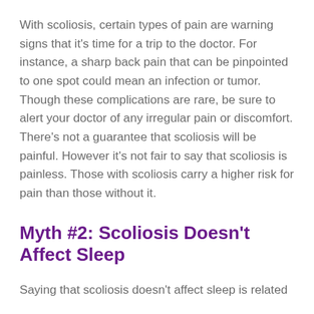With scoliosis, certain types of pain are warning signs that it's time for a trip to the doctor. For instance, a sharp back pain that can be pinpointed to one spot could mean an infection or tumor. Though these complications are rare, be sure to alert your doctor of any irregular pain or discomfort. There's not a guarantee that scoliosis will be painful. However it's not fair to say that scoliosis is painless. Those with scoliosis carry a higher risk for pain than those without it.
Myth #2: Scoliosis Doesn't Affect Sleep
Saying that scoliosis doesn't affect sleep is related